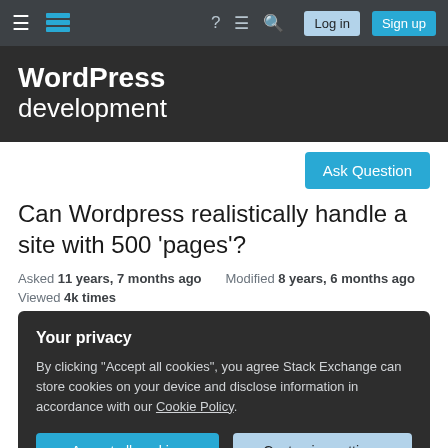WordPress development — Stack Exchange
WordPress development
Ask Question
Can Wordpress realistically handle a site with 500 'pages'?
Asked 11 years, 7 months ago   Modified 8 years, 6 months ago
Viewed 4k times
Your privacy
By clicking "Accept all cookies", you agree Stack Exchange can store cookies on your device and disclose information in accordance with our Cookie Policy.
Accept all cookies   Customize settings